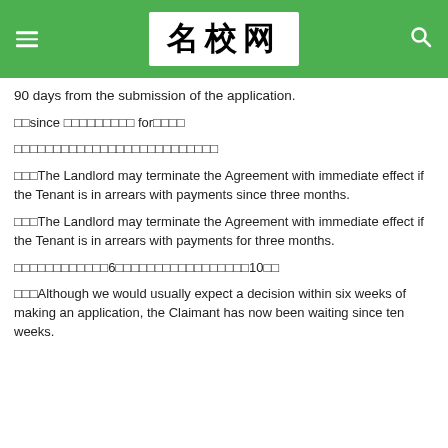名校网
90 days from the submission of the application.
□□since □□□□□□□□□ for□□□□
□□□□□□□□□□□□□□□□□□□□□□□□□□
□□□The Landlord may terminate the Agreement with immediate effect if the Tenant is in arrears with payments since three months.
□□□The Landlord may terminate the Agreement with immediate effect if the Tenant is in arrears with payments for three months.
□□□□□□□□□□□□6□□□□□□□□□□□□□□□□□10□□
□□□Although we would usually expect a decision within six weeks of making an application, the Claimant has now been waiting since ten weeks.